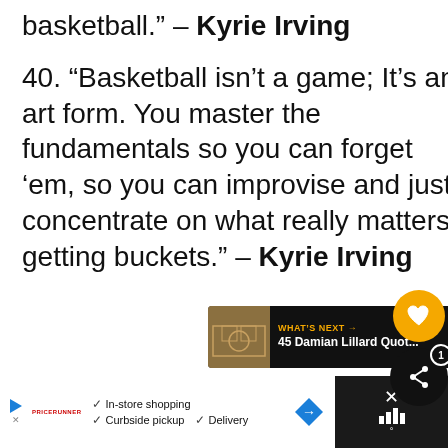basketball." – Kyrie Irving
40. "Basketball isn't a game; It's an art form. You master the fundamentals so you can forget 'em, so you can improvise and just concentrate on what really matters: getting buckets." – Kyrie Irving
[Figure (infographic): Social media overlay buttons: orange heart/like button and black share button with badge showing count of 1]
[Figure (infographic): What's Next banner: dark background with basketball image thumbnail, orange text WHAT'S NEXT with arrow, white text '45 Damian Lillard Quot...']
[Figure (infographic): Advertisement banner at bottom: Google/store ad with in-store shopping, curbside pickup, delivery checkmarks, navigation diamond icon]